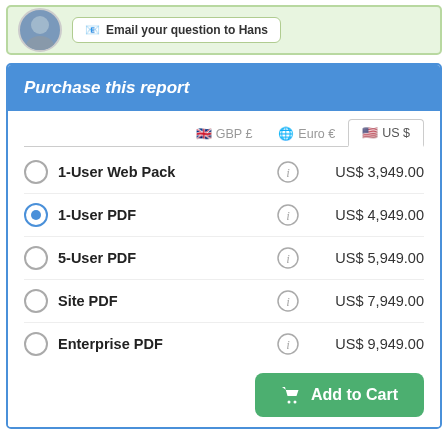[Figure (other): Top bar with avatar photo and email question button showing 'Email your question to Hans']
Purchase this report
| Product | Info | Price (US $) |
| --- | --- | --- |
| 1-User Web Pack | (i) | US$ 3,949.00 |
| 1-User PDF | (i) | US$ 4,949.00 |
| 5-User PDF | (i) | US$ 5,949.00 |
| Site PDF | (i) | US$ 7,949.00 |
| Enterprise PDF | (i) | US$ 9,949.00 |
Add to Cart